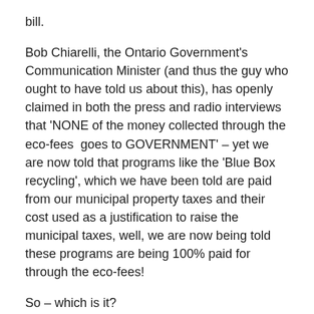bill.
Bob Chiarelli, the Ontario Government’s Communication Minister (and thus the guy who ought to have told us about this), has openly claimed in both the press and radio interviews that ‘NONE of the money collected through the eco-fees  goes to GOVERNMENT’ – yet we are now told that programs like the ‘Blue Box recycling’, which we have been told are paid from our municipal property taxes and their cost used as a justification to raise the municipal taxes, well, we are now being told these programs are being 100% paid for through the eco-fees!
So – which is it?
Are we paying for recycling programs through our property taxes – as our municipal politicians are telling us – or are